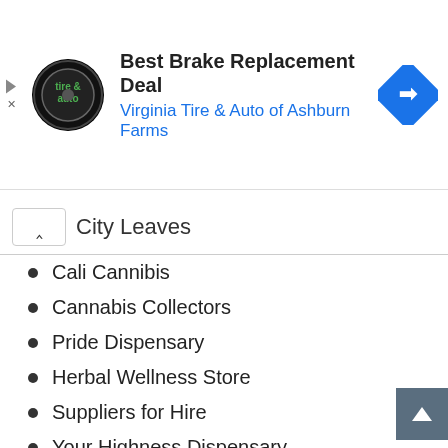[Figure (other): Advertisement banner for Virginia Tire & Auto of Ashburn Farms showing logo, headline 'Best Brake Replacement Deal', and a blue navigation arrow icon]
City Leaves
Cali Cannibis
Cannabis Collectors
Pride Dispensary
Herbal Wellness Store
Suppliers for Hire
Your Highness Dispensary
Scientific Serenity
Fabulous cannabis
Medical Marijuana
Comfortably Higher
The Greener Cookie